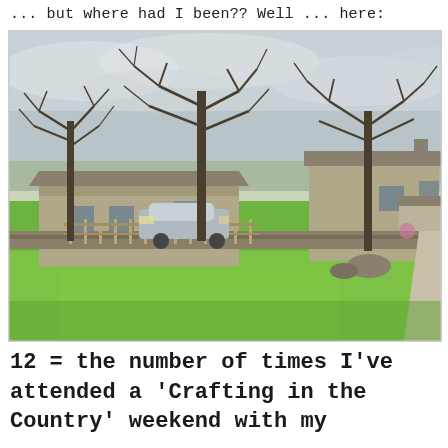... but where had I been?? Well ... here:
[Figure (photo): Photograph of a rural English countryside scene with stone farmhouses, bare winter trees, green lawns, a wooden fence, dry stone walls, a parked car, and an overcast grey sky.]
12 = the number of times I've attended a 'Crafting in the Country' weekend with my